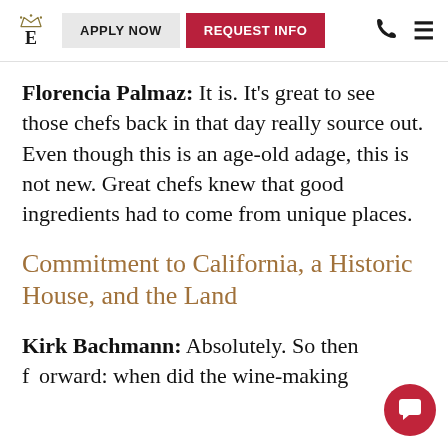E | APPLY NOW | REQUEST INFO | [phone] [menu]
Florencia Palmaz: It is. It's great to see those chefs back in that day really source out. Even though this is an age-old adage, this is not new. Great chefs knew that good ingredients had to come from unique places.
Commitment to California, a Historic House, and the Land
Kirk Bachmann: Absolutely. So then fast forward: when did the wine-making